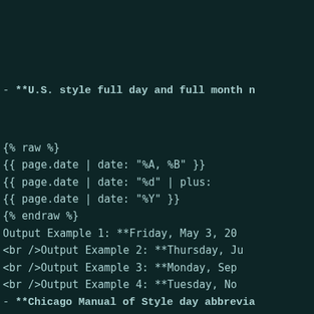- **U.S. style full day and full month n
{% raw %}
        {{ page.date | date: "%A, %B" }}
        {{ page.date | date: "%d" | plus:
        {{ page.date | date: "%Y" }}
    {% endraw %}
Output Example 1: **Friday, May 3, 20
    <br />Output Example 2: **Thursday, Ju
    <br />Output Example 3: **Monday, Sep
    <br />Output Example 4: **Tuesday, No
- **Chicago Manual of Style day abbrevia